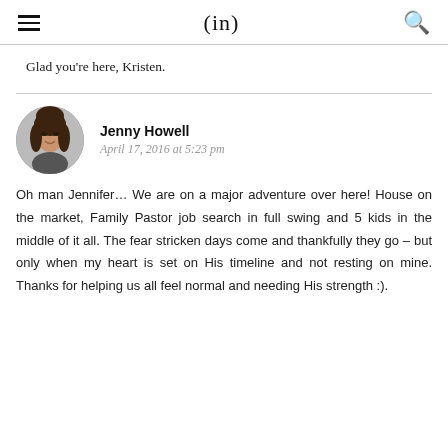(in)
Glad you're here, Kristen.
[Figure (photo): Circular avatar photo of Jenny Howell, a woman with long brown hair, smiling]
Jenny Howell
April 17, 2016 at 5:23 pm
Oh man Jennifer… We are on a major adventure over here! House on the market, Family Pastor job search in full swing and 5 kids in the middle of it all. The fear stricken days come and thankfully they go – but only when my heart is set on His timeline and not resting on mine. Thanks for helping us all feel normal and needing His strength :).